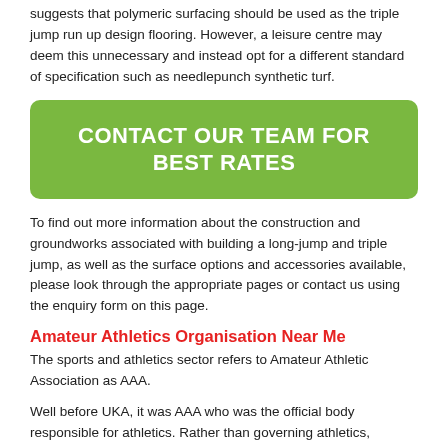suggests that polymeric surfacing should be used as the triple jump run up design flooring. However, a leisure centre may deem this unnecessary and instead opt for a different standard of specification such as needlepunch synthetic turf.
[Figure (other): Green rounded rectangle banner with bold white uppercase text: CONTACT OUR TEAM FOR BEST RATES]
To find out more information about the construction and groundworks associated with building a long-jump and triple jump, as well as the surface options and accessories available, please look through the appropriate pages or contact us using the enquiry form on this page.
Amateur Athletics Organisation Near Me
The sports and athletics sector refers to Amateur Athletic Association as AAA.
Well before UKA, it was AAA who was the official body responsible for athletics. Rather than governing athletics, Amateur Athletic